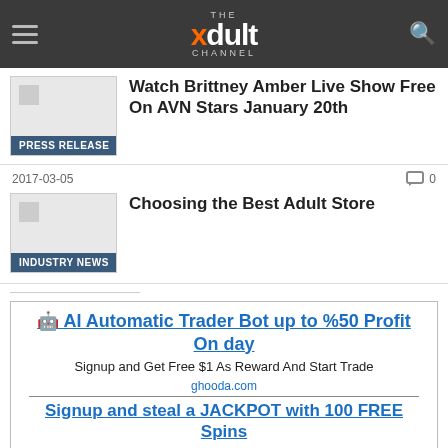THE xdult CHANNEL
[Figure (screenshot): Thumbnail image placeholder for Press Release article]
PRESS RELEASE
Watch Brittney Amber Live Show Free On AVN Stars January 20th
2017-03-05
0 comments
[Figure (screenshot): Thumbnail image placeholder for Industry News article]
INDUSTRY NEWS
Choosing the Best Adult Store
🤖 AI Automatic Trader Bot up to %50 Profit On day
Signup and Get Free $1 As Reward And Start Trade
ghooda.com
Signup and steal a JACKPOT with 100 FREE Spins
Play at the #1 crypto casino